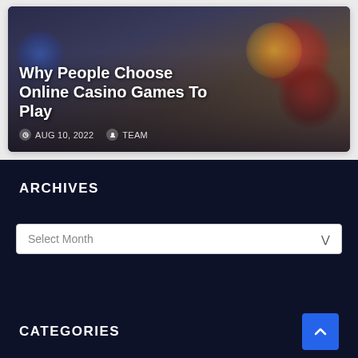[Figure (screenshot): Casino-themed blog post card image with poker chips, playing cards, and casino decorations in dark tones]
Why People Choose Online Casino Games To Play
AUG 10, 2022  TEAM
ARCHIVES
Select Month
CATEGORIES